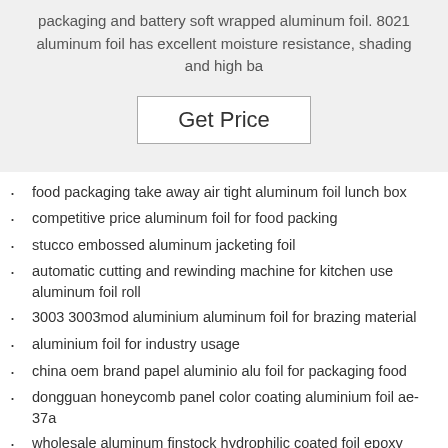packaging and battery soft wrapped aluminum foil. 8021 aluminum foil has excellent moisture resistance, shading and high ba
Get Price
food packaging take away air tight aluminum foil lunch box
competitive price aluminum foil for food packing
stucco embossed aluminum jacketing foil
automatic cutting and rewinding machine for kitchen use aluminum foil roll
3003 3003mod aluminium aluminum foil for brazing material
aluminium foil for industry usage
china oem brand papel aluminio alu foil for packaging food
dongguan honeycomb panel color coating aluminium foil ae-37a
wholesale aluminum finstock hydrophilic coated foil epoxy coated foil
soft pure aluminum foil for food packaging
hydrophilic gold aluminum foil
aluminium strip foil for transformer customized size and thickness